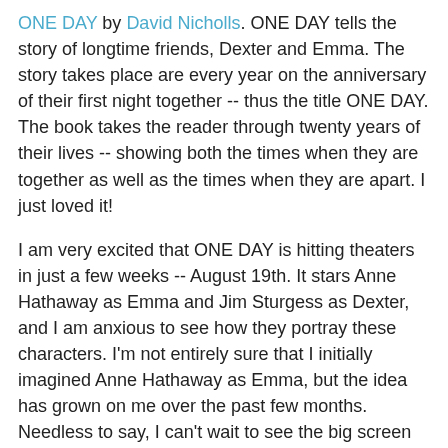ONE DAY by David Nicholls. ONE DAY tells the story of longtime friends, Dexter and Emma. The story takes place are every year on the anniversary of their first night together -- thus the title ONE DAY. The book takes the reader through twenty years of their lives -- showing both the times when they are together as well as the times when they are apart. I just loved it!
I am very excited that ONE DAY is hitting theaters in just a few weeks -- August 19th. It stars Anne Hathaway as Emma and Jim Sturgess as Dexter, and I am anxious to see how they portray these characters. I'm not entirely sure that I initially imagined Anne Hathaway as Emma, but the idea has grown on me over the past few months. Needless to say, I can't wait to see the big screen version of this love story!
If you'd like to learn more about the film, you can check out the official ONE DAY website as well as the Facebook page. You can also enter the GoodReads "One Day Summer Reads" Sweepstakes here.
About the Film